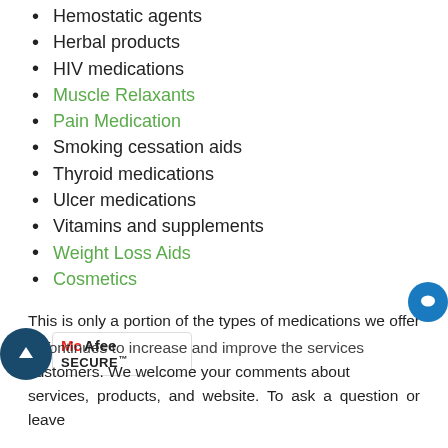Hemostatic agents
Herbal products
HIV medications
Muscle Relaxants
Pain Medication
Smoking cessation aids
Thyroid medications
Ulcer medications
Vitamins and supplements
Weight Loss Aids
Cosmetics
This is only a portion of the types of medications we offer our customers.
...continues to increase and improve the services customers. We welcome your comments about services, products, and website. To ask a question or leave